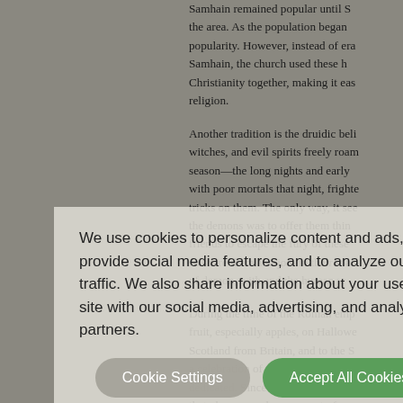Samhain remained popular until S... the area. As the population began popularity. However, instead of era Samhain, the church used these h Christianity together, making it eas religion.
Another tradition is the druidic belie witches, and evil spirits freely roam season—the long nights and early with poor mortals that night, frighte tricks on them. The only way, it see the demons was to offer them thin friends to escape the fury of these so share them and join in their roa of demon, with and the human w
During the time of the Roman emp fruit, especially apples, on Hallowe Scotland from Britain, and to the S a celebration of the Roman goddes dedicated. Since the annual Feast that observance became part of ou the familiar tradition of "dunking" fo
We use cookies to personalize content and ads, to provide social media features, and to analyze our traffic. We also share information about your use of our site with our social media, advertising, and analytics partners.